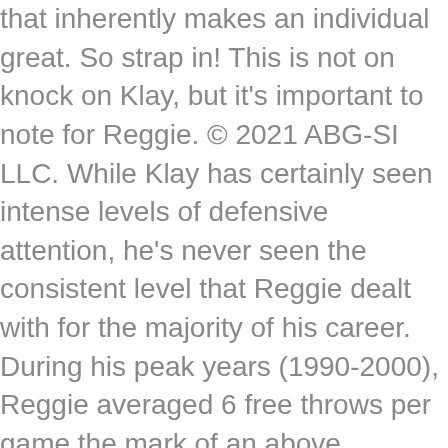that inherently makes an individual great. So strap in! This is not on knock on Klay, but it's important to note for Reggie. © 2021 ABG-SI LLC. While Klay has certainly seen intense levels of defensive attention, he's never seen the consistent level that Reggie dealt with for the majority of his career. During his peak years (1990-2000), Reggie averaged 6 free throws per game the mark of an above average finisher. Kansas guard Chris Teahan banked in a three as time expired in Baylor's 77-69 victory in Waco on Monday. We are sure that they are kin-eyed, as even little mistakes, funny moments and hilarious finals are noticed by them and immediately shared with all … Klay routinely guards opposing teams' best perimeter player and warrants the defensive acclaim he has received throughout his career. Context is key. If you put prime Reggie in today's game, his offense would pop like no other. Brooklyn looks unguardable after acquiring James Harden from the Rockets. With all due respect to Sanon, this pick isn't going to